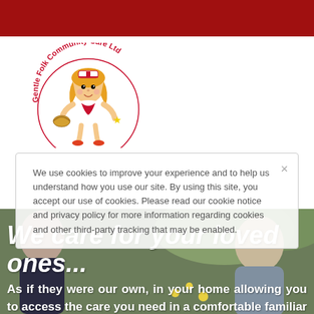[Figure (logo): Gentle Folk Community Care Ltd logo — circular text 'Gentle Folk Community Care Ltd' in red around a cartoon nurse girl character with blonde hair, holding a basket]
We use cookies to improve your experience and to help us understand how you use our site. By using this site, you accept our use of cookies. Please read our cookie notice and privacy policy for more information regarding cookies and other third-party tracking that may be enabled.
We care for your loved ones...
As if they were our own, in your home allowing you to access the care you need in a comfortable familiar setting. This often means...